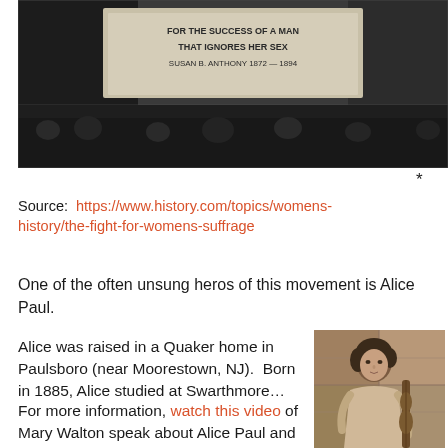[Figure (photo): Black and white historical photograph showing a banner with text 'FOR THE SUCCESS OF A MAN THAT IGNORES HER SEX – SUSAN B. ANTHONY 1872–1894' with people and decorations around it]
*
Source: https://www.history.com/topics/womens-history/the-fight-for-womens-suffrage
One of the often unsung heros of this movement is Alice Paul.
Alice was raised in a Quaker home in Paulsboro (near Moorestown, NJ).  Born in 1885, Alice studied at Swarthmore…
For more information, watch this video of Mary Walton speak about Alice Paul and Mary's book "A Woman's...
[Figure (photo): Sepia-toned portrait photograph of a young woman (Alice Paul) in early 20th century dress, seated and holding what appears to be a musical instrument]